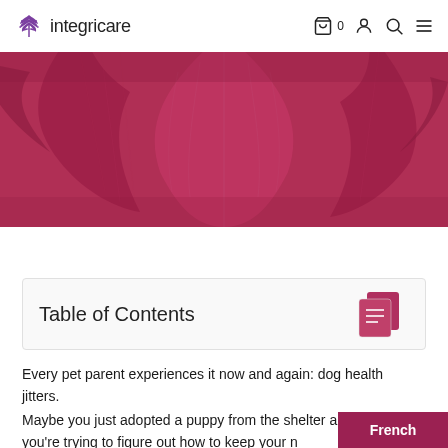integricare — navigation bar with cart, user, search, and menu icons
[Figure (photo): Close-up photo of deep pink/magenta tropical leaves with ribbed texture, used as a hero banner image]
Table of Contents
Every pet parent experiences it now and again: dog health jitters.
Maybe you just adopted a puppy from the shelter and you're trying to figure out how to keep your n…